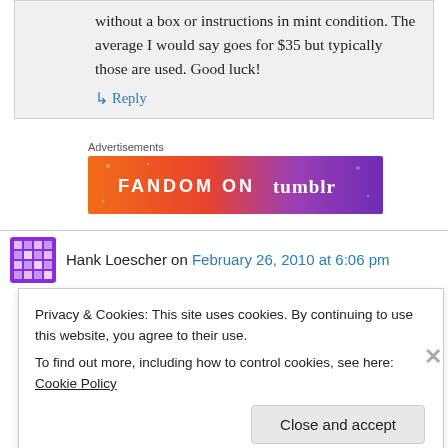without a box or instructions in mint condition. The average I would say goes for $35 but typically those are used. Good luck!
Reply
Advertisements
[Figure (illustration): Fandom on Tumblr advertisement banner with colorful orange to purple gradient background]
Hank Loescher on February 26, 2010 at 6:06 pm
Privacy & Cookies: This site uses cookies. By continuing to use this website, you agree to their use.
To find out more, including how to control cookies, see here: Cookie Policy
Close and accept